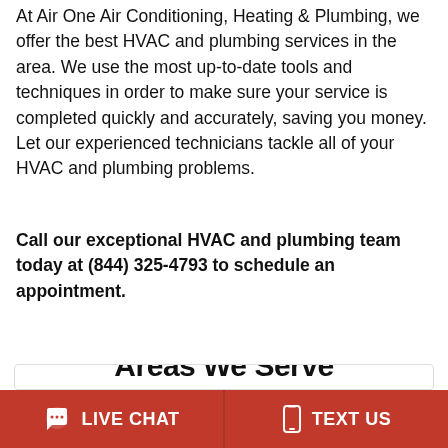At Air One Air Conditioning, Heating & Plumbing, we offer the best HVAC and plumbing services in the area. We use the most up-to-date tools and techniques in order to make sure your service is completed quickly and accurately, saving you money. Let our experienced technicians tackle all of your HVAC and plumbing problems.
Call our exceptional HVAC and plumbing team today at (844) 325-4793 to schedule an appointment.
Areas We Serve
LIVE CHAT   TEXT US